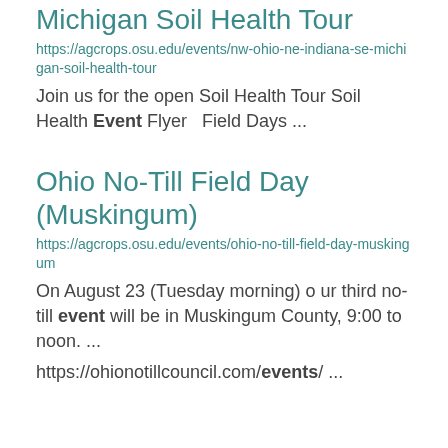Michigan Soil Health Tour
https://agcrops.osu.edu/events/nw-ohio-ne-indiana-se-michigan-soil-health-tour
Join us for the open Soil Health Tour Soil Health Event Flyer  Field Days ...
Ohio No-Till Field Day (Muskingum)
https://agcrops.osu.edu/events/ohio-no-till-field-day-muskingum
On August 23 (Tuesday morning) o ur third no-till event will be in Muskingum County, 9:00 to noon. ...
https://ohionotillcouncil.com/events/ ...